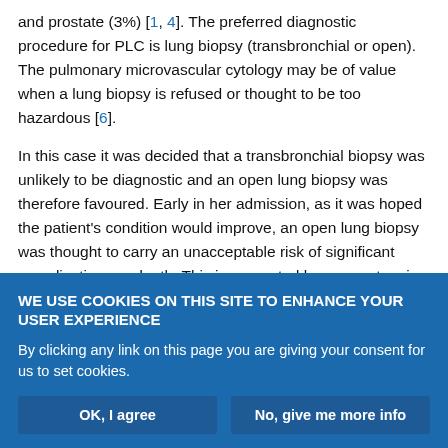and prostate (3%) [1, 4]. The preferred diagnostic procedure for PLC is lung biopsy (transbronchial or open). The pulmonary microvascular cytology may be of value when a lung biopsy is refused or thought to be too hazardous [6].
In this case it was decided that a transbronchial biopsy was unlikely to be diagnostic and an open lung biopsy was therefore favoured. Early in her admission, as it was hoped the patient's condition would improve, an open lung biopsy was thought to carry an unacceptable risk of significant complications or death. This is supported by a recent review which reports the mortality rate of open lung biopsy in mechanically ventilated patients as 54% [7]. With hindsight it can be
WE USE COOKIES ON THIS SITE TO ENHANCE YOUR USER EXPERIENCE
By clicking any link on this page you are giving your consent for us to set cookies.